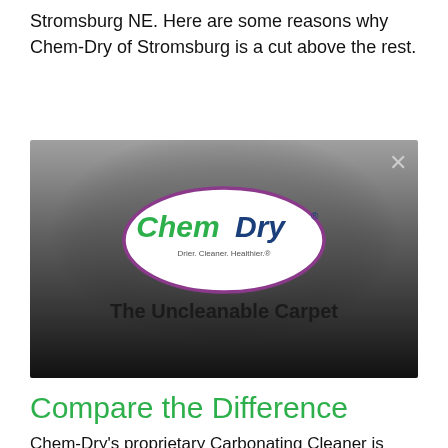Stromsburg NE. Here are some reasons why Chem-Dry of Stromsburg is a cut above the rest.
[Figure (screenshot): Chem-Dry branded video thumbnail with gradient background from gray to dark. Features the Chem-Dry oval logo with 'Chem' in green and 'Dry' in blue text, tagline 'Drier. Cleaner. Healthier.' below it. Text reads 'The Uncleanable Carpet' in the lower center. An X close button appears in the top right corner.]
Compare the Difference
Chem-Dry's proprietary Carbonating Cleaner is applied using a low pressure spray machine, covering your carpet with millions of microscopic carbonated bubbles. The carbonation makes dirt and grime release from the fibers...